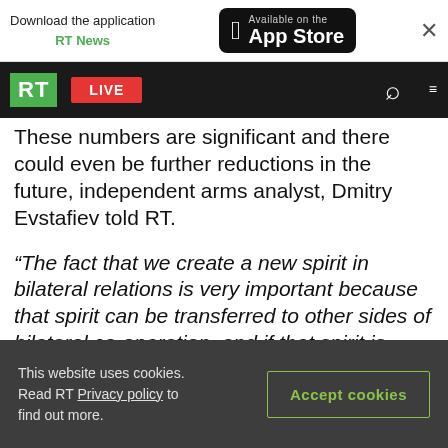Download the application RT News — Available on the App Store
[Figure (screenshot): RT website navigation bar with green RT logo, red LIVE button, search and menu icons on black background]
These numbers are significant and there could even be further reductions in the future, independent arms analyst, Dmitry Evstafiev told RT.
“The fact that we create a new spirit in bilateral relations is very important because that spirit can be transferred to other sides of bilateral co-operation, and if that spirit is preserved we can even go to lower numbers, where [the weapons] will mean less than now,” Evstafiev said.
This website uses cookies. Read RT Privacy policy to find out more. [Accept cookies button]